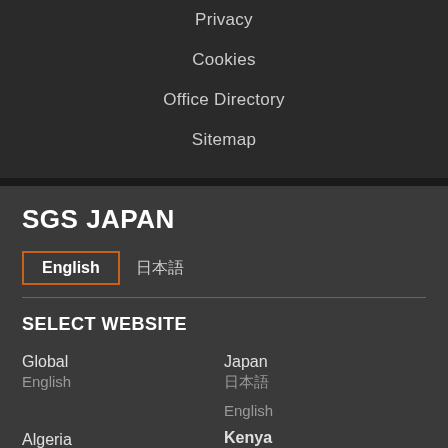Privacy
Cookies
Office Directory
Sitemap
SGS JAPAN
English | 日本語
SELECT WEBSITE
Global
English
Japan
日本語
English
Algeria
Francais
Kenya